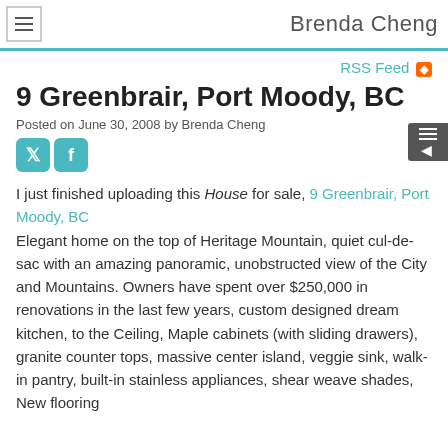Brenda Cheng
RSS Feed
9 Greenbrair, Port Moody, BC
Posted on June 30, 2008 by Brenda Cheng
I just finished uploading this House for sale, 9 Greenbrair, Port Moody, BC
Elegant home on the top of Heritage Mountain, quiet cul-de-sac with an amazing panoramic, unobstructed view of the City and Mountains. Owners have spent over $250,000 in renovations in the last few years, custom designed dream kitchen, to the Ceiling, Maple cabinets (with sliding drawers), granite counter tops, massive center island, veggie sink, walk-in pantry, built-in stainless appliances, shear weave shades, New flooring